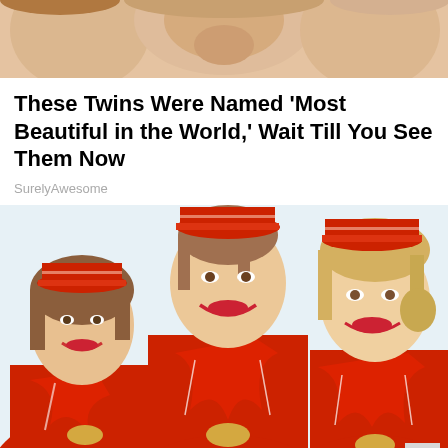[Figure (photo): Top portion of a photo showing faces/skin tones of people from above the nose, cropped at top of page]
These Twins Were Named 'Most Beautiful in the World,' Wait Till You See Them Now
SurelyAwesome
[Figure (photo): Three women dressed as flight attendants in red uniforms with red hats, scarves, and name badges, smiling, photographed from chest up against a light background. A small grey X close button is visible in the bottom right corner.]